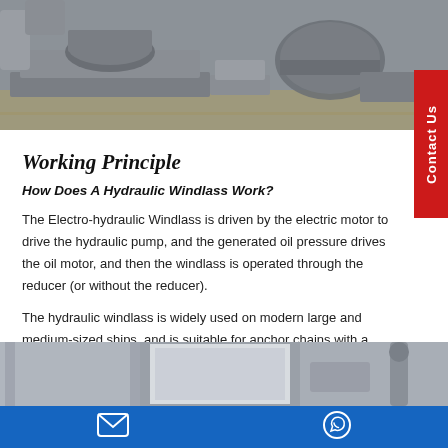[Figure (photo): Industrial hydraulic windlass machinery on factory floor, grey metal equipment]
Working Principle
How Does A Hydraulic Windlass Work?
The Electro-hydraulic Windlass is driven by the electric motor to drive the hydraulic pump, and the generated oil pressure drives the oil motor, and then the windlass is operated through the reducer (or without the reducer).
The hydraulic windlass is widely used on modern large and medium-sized ships, and is suitable for anchor chains with a diameters of 16mm-120mm.
[Figure (photo): Industrial facility interior showing machinery and structural columns]
Contact Us (email and WhatsApp icons)